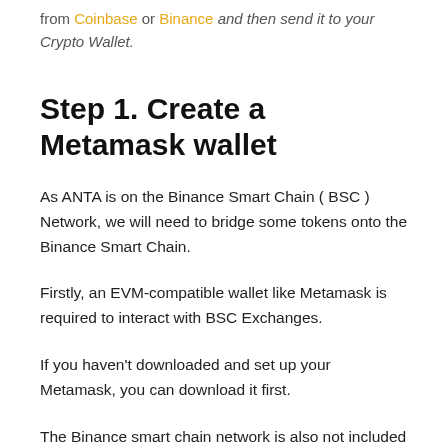from Coinbase or Binance and then send it to your Crypto Wallet.
Step 1. Create a Metamask wallet
As ANTA is on the Binance Smart Chain ( BSC ) Network, we will need to bridge some tokens onto the Binance Smart Chain.
Firstly, an EVM-compatible wallet like Metamask is required to interact with BSC Exchanges.
If you haven't downloaded and set up your Metamask, you can download it first.
The Binance smart chain network is also not included in the Metamask wallet by default so you have to add the Binance Smart Chain Network to your MetaMask